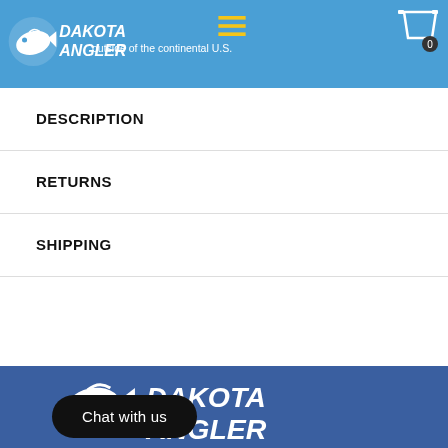Dakota Angler — outside of the continental U.S.
DESCRIPTION
RETURNS
SHIPPING
[Figure (logo): Dakota Angler logo with fish graphic in footer blue area]
Chat with us